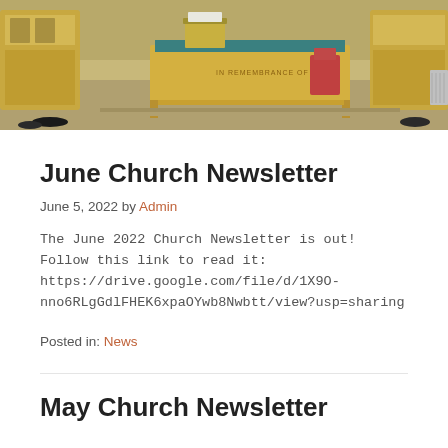[Figure (photo): Interior of a church showing wooden pews, an altar table with a blue cloth, a lectern, and wooden furnishings]
June Church Newsletter
June 5, 2022 by Admin
The June 2022 Church Newsletter is out! Follow this link to read it: https://drive.google.com/file/d/1X9O-nno6RLgGdlFHEK6xpaOYwb8Nwbtt/view?usp=sharing
Posted in: News
May Church Newsletter